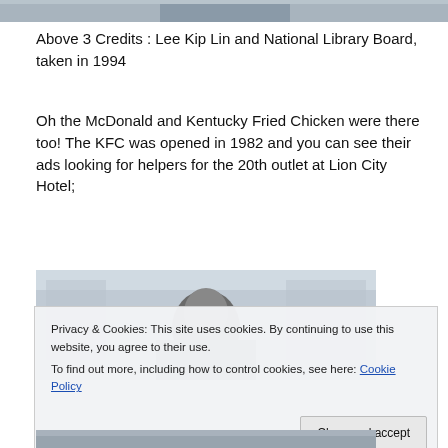[Figure (photo): Top portion of a black and white photograph, partially cropped]
Above 3 Credits : Lee Kip Lin and National Library Board, taken in 1994
Oh the McDonald and Kentucky Fried Chicken were there too! The KFC was opened in 1982 and you can see their ads looking for helpers for the 20th outlet at Lion City Hotel;
[Figure (photo): Black and white photograph showing a person, partially obscured by cookie consent banner]
Privacy & Cookies: This site uses cookies. By continuing to use this website, you agree to their use.
To find out more, including how to control cookies, see here: Cookie Policy
[Figure (photo): Bottom portion of a photograph, partially cropped at page edge]